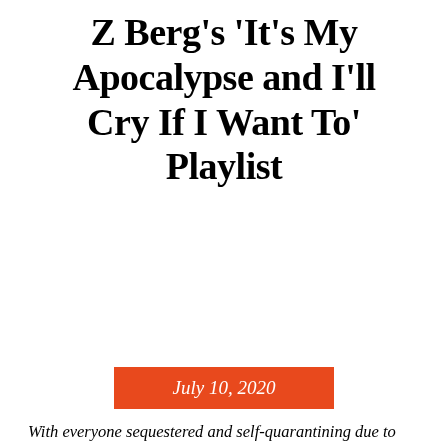Z Berg's 'It's My Apocalypse and I'll Cry If I Want To' Playlist
July 10, 2020
With everyone sequestered and self-quarantining due to the coronavirus, we've asked our favorite artists to come up